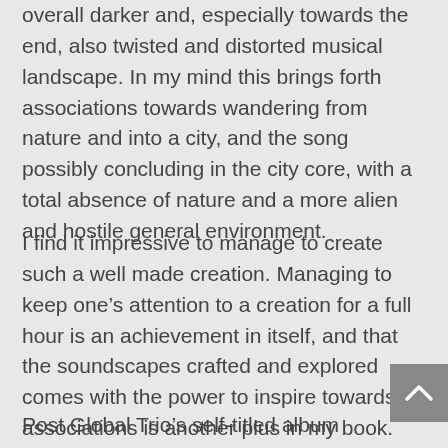overall darker and, especially towards the end, also twisted and distorted musical landscape. In my mind this brings forth associations towards wandering from nature and into a city, and the song possibly concluding in the city core, with a total absence of nature and a more alien and hostile general environment.
I find it impressive to manage to create such a well made creation. Managing to keep one’s attention to a creation for a full hour is an achievement in itself, and that the soundscapes crafted and explored comes with the power to inspire towards associations is another plus in my book. While perhaps not a brilliant creation as such, as some sections lacks the sheer hypnotic power I crave, this is a well made creation on most levels and a fulfilling total experience.
Post Global Trio’s self-titled album comes across as a